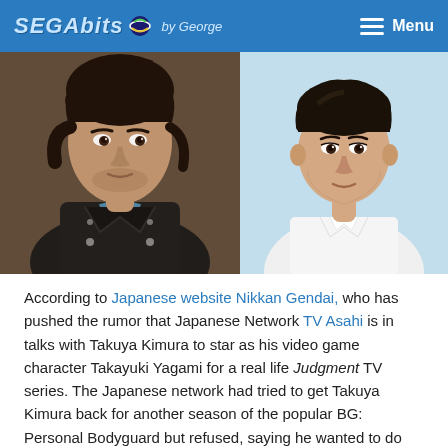SEGAbits by George | Menu
[Figure (photo): Two photos side by side: left shows a video game character Takayuki Yagami (Takuya Kimura's character) with dark hair and leather jacket; right shows a real photo of Takuya Kimura in a white shirt against a light blue background.]
According to Japanese website Nikkan Gendai, who has pushed the rumor that Japanese Network TV Asahi is in talks with Takuya Kimura to star as his video game character Takayuki Yagami for a real life Judgment TV series. The Japanese network had tried to get Takuya Kimura back for another season of the popular BG: Personal Bodyguard but refused, saying he wanted to do something new.